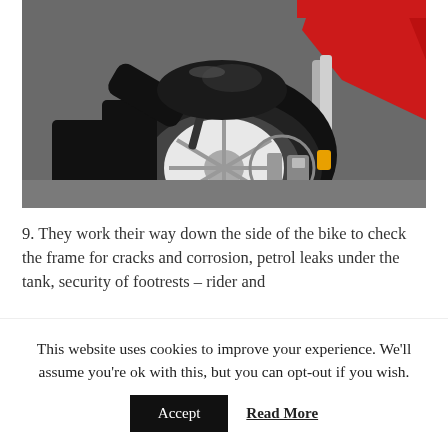[Figure (photo): A person in black clothing crouching down next to the front wheel of a red motorcycle, inspecting or working on the front fender and tire area. The motorcycle has a white wheel with disc brakes visible.]
9. They work their way down the side of the bike to check the frame for cracks and corrosion, petrol leaks under the tank, security of footrests – rider and
This website uses cookies to improve your experience. We'll assume you're ok with this, but you can opt-out if you wish.
Accept   Read More